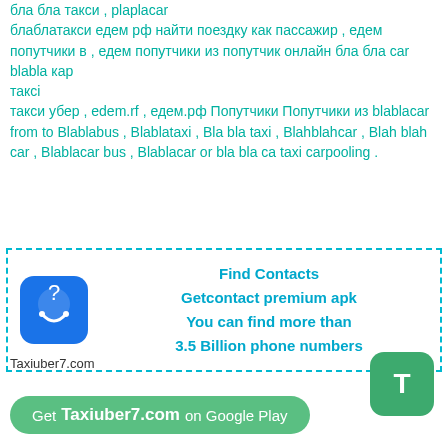бла бла такси , plaplacar
блаблатакси едем рф найти поездку как пассажир , едем попутчики в , едем попутчики из попутчик онлайн бла бла car blabla кар
таксі
такси убер , edem.rf , едем.рф Попутчики Попутчики из blablacar from to Blablabus , Blablataxi , Bla bla taxi , Blahblahcar , Blah blah car , Blablacar bus , Blablacar or bla bla ca taxi carpooling .
[Figure (infographic): Ad box with phone/contacts icon and text: Find Contacts, Getcontact premium apk, You can find more than 3.5 Billion phone numbers]
Taxiuber7.com
T
Get Taxiuber7.com on Google Play